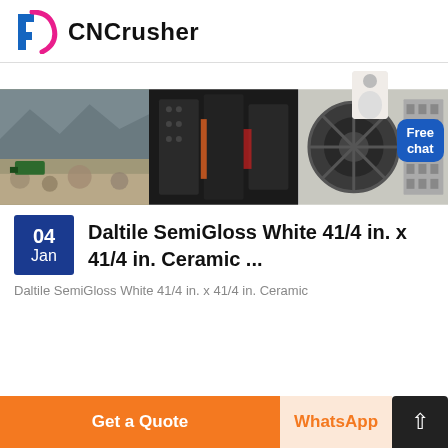CNCrusher
[Figure (photo): Banner showing three panels: mining/quarry site with green equipment, dark industrial crusher machinery, and large industrial equipment in a factory setting. A 'Free chat' button overlay and a person figure are visible on the right side.]
04 Jan
Daltile SemiGloss White 41/4 in. x 41/4 in. Ceramic ...
Daltile SemiGloss White 41/4 in. x 41/4 in. Ceramic